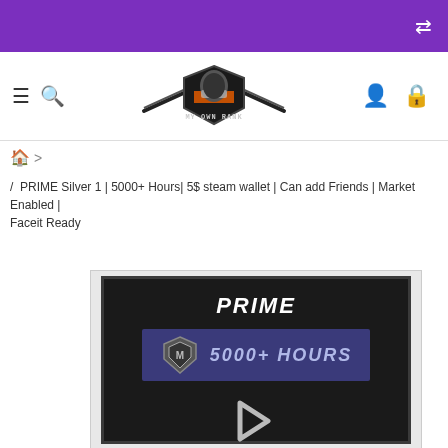Purple navigation bar with shuffle icon
[Figure (logo): My Own Rank logo — armored soldier with rifles and text 'my own rank']
/ PRIME Silver 1 | 5000+ Hours| 5$ steam wallet | Can add Friends | Market Enabled | Faceit Ready
[Figure (screenshot): Product image showing 'PRIME' text with '5000+ HOURS' banner and a chevron arrow on dark background]